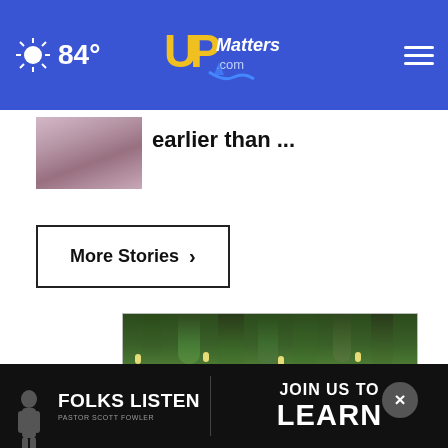84° UPMatters.com
[Figure (screenshot): Small thumbnail image of an animal/creature, pinkish tones]
earlier than ...
More Stories ›
[Figure (photo): Nagelkirk advertisement showing hanging greenery/floral decoration from a tent ceiling with pendant lights, and Nagelkirk logo with a red bird, address 1960 M-38 East]
FOLKS LISTEN
JOIN US TO LEARN